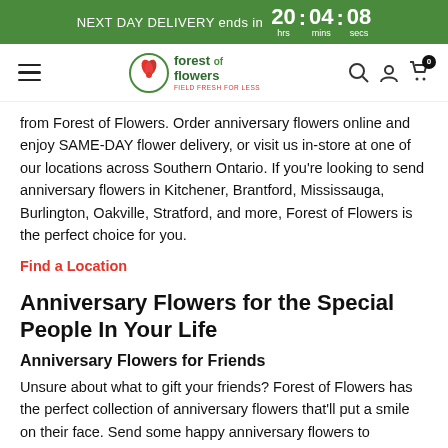NEXT DAY DELIVERY ends in 20 hrs : 04 mins : 08 secs
[Figure (logo): Forest of Flowers logo with navigation bar including hamburger menu, search, account, and cart icons]
from Forest of Flowers. Order anniversary flowers online and enjoy SAME-DAY flower delivery, or visit us in-store at one of our locations across Southern Ontario. If you're looking to send anniversary flowers in Kitchener, Brantford, Mississauga, Burlington, Oakville, Stratford, and more, Forest of Flowers is the perfect choice for you.
Find a Location
Anniversary Flowers for the Special People In Your Life
Anniversary Flowers for Friends
Unsure about what to gift your friends? Forest of Flowers has the perfect collection of anniversary flowers that'll put a smile on their face. Send some happy anniversary flowers to celebrate their special